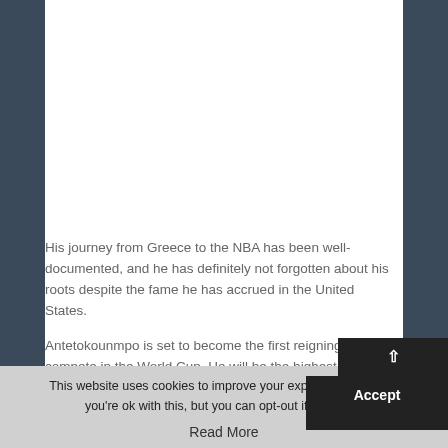His journey from Greece to the NBA has been well-documented, and he has definitely not forgotten about his roots despite the fame he has accrued in the United States.
Antetokounmpo is set to become the first reigning MVP to compete in the World Cup. He will be the highest-profile player at the tournament by a long shot because many American stars turned down the opportunity to compete for their country this year.
This website uses cookies to improve your experience. We'll as you're ok with this, but you can opt-out if you wish. Accept Read More